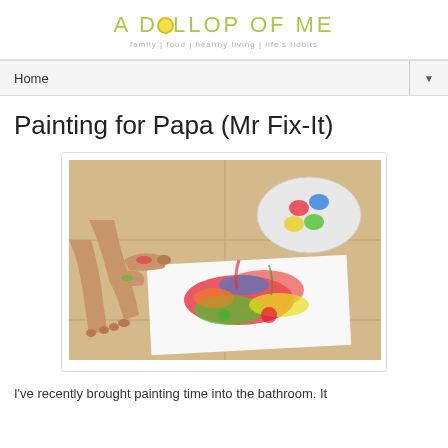A DOLLOP OF ME — family | food | healthy living | life's tidbits
Home ▼
Painting for Papa (Mr Fix-It)
[Figure (photo): Child's feet and hands on a tiled floor with colorful finger-painted paper and a paint palette plate in the background]
I've recently brought painting time into the bathroom. It